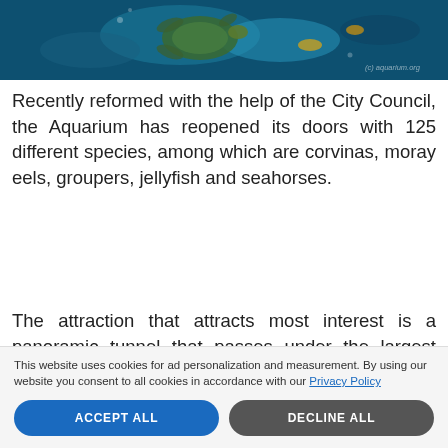[Figure (photo): An underwater photo showing sea turtles and marine life with a blue-green aquatic background. Watermark text visible in bottom right.]
Recently reformed with the help of the City Council, the Aquarium has reopened its doors with 125 different species, among which are corvinas, moray eels, groupers, jellyfish and seahorses.
The attraction that attracts most interest is a panoramic tunnel that passes under the largest oceanarium in Andalusía, with a million litres of water which is
This website uses cookies for ad personalization and measurement. By using our website you consent to all cookies in accordance with our Privacy Policy
ACCEPT ALL
DECLINE ALL